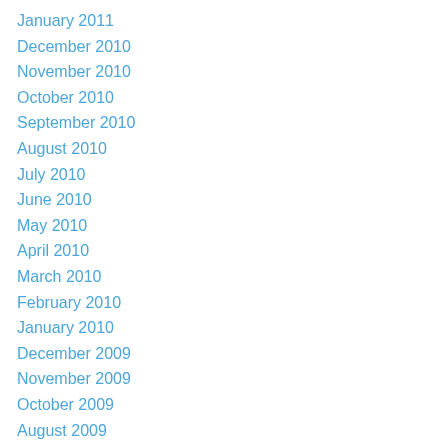January 2011
December 2010
November 2010
October 2010
September 2010
August 2010
July 2010
June 2010
May 2010
April 2010
March 2010
February 2010
January 2010
December 2009
November 2009
October 2009
August 2009
July 2009
June 2009
May 2009